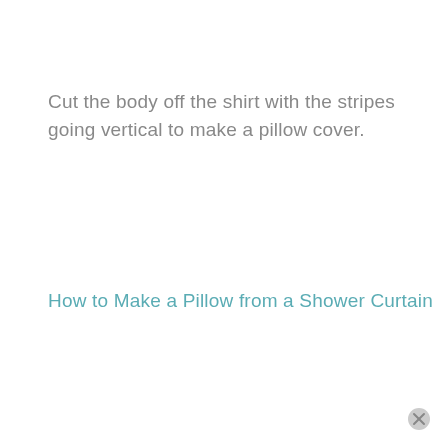Cut the body off the shirt with the stripes going vertical to make a pillow cover.
How to Make a Pillow from a Shower Curtain